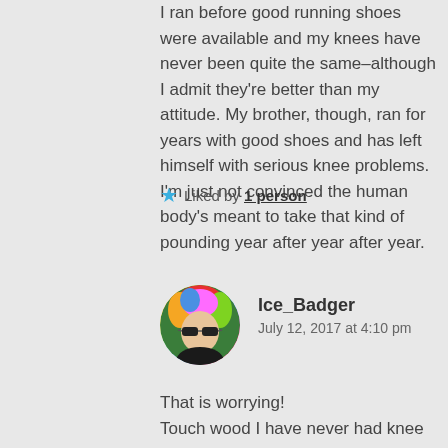I ran before good running shoes were available and my knees have never been quite the same–although I admit they're better than my attitude. My brother, though, ran for years with good shoes and has left himself with serious knee problems. I'm just not convinced the human body's meant to take that kind of pounding year after year after year.
★ Liked by 1 person
[Figure (photo): Circular avatar photo of Ice_Badger — person with colorful rainbow hair and dark sunglasses, wearing a dark jacket, outdoors]
Ice_Badger
July 12, 2017 at 4:10 pm
That is worrying!
Touch wood I have never had knee problems